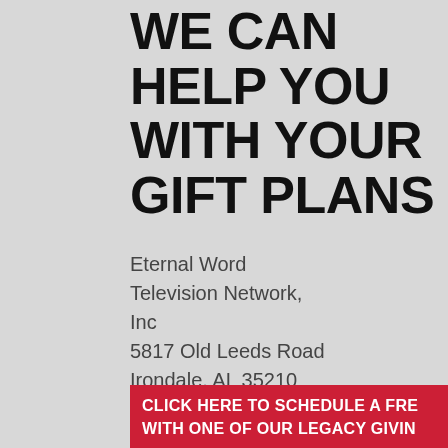WE CAN HELP YOU WITH YOUR GIFT PLANS
Eternal Word Television Network, Inc
5817 Old Leeds Road
Irondale, AL 35210
Telephone: (205) 271-4522
CLICK HERE TO SCHEDULE A FREE CONSULTATION WITH ONE OF OUR LEGACY GIVING ADVISORS